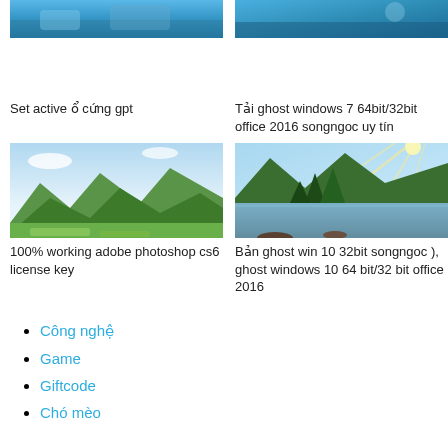[Figure (photo): Aerial/landscape photo (partially visible, top of page), left column]
Set active ổ cứng gpt
[Figure (photo): Aerial/landscape photo (partially visible, top of page), right column]
Tải ghost windows 7 64bit/32bit office 2016 songngoc uy tín
[Figure (photo): Green mountain valley landscape photo]
100% working adobe photoshop cs6 license key
[Figure (photo): Sunlit mountain lake with forest photo]
Bản ghost win 10 32bit songngoc ), ghost windows 10 64 bit/32 bit office 2016
Công nghệ
Game
Giftcode
Chó mèo